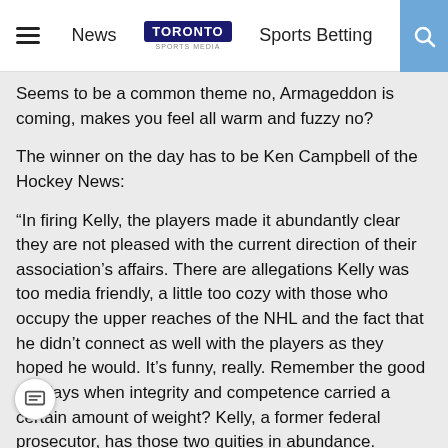News | Toronto Sports Media | Sports Betting
Seems to be a common theme no, Armageddon is coming, makes you feel all warm and fuzzy no?
The winner on the day has to be Ken Campbell of the Hockey News:
“In firing Kelly, the players made it abundantly clear they are not pleased with the current direction of their association’s affairs. There are allegations Kelly was too media friendly, a little too cozy with those who occupy the upper reaches of the NHL and the fact that he didn’t connect as well with the players as they hoped he would. It’s funny, really. Remember the good old days when integrity and competence carried a certain amount of weight? Kelly, a former federal prosecutor, has those two qualities in abundance. Obviously, the players don’t put a whole lot of stock into those virtues these days.”